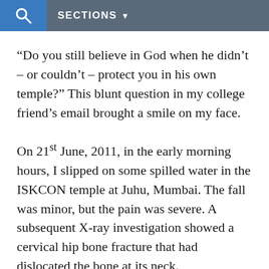SECTIONS
“Do you still believe in God when he didn’t – or couldn’t – protect you in his own temple?” This blunt question in my college friend’s email brought a smile on my face.
On 21st June, 2011, in the early morning hours, I slipped on some spilled water in the ISKCON temple at Juhu, Mumbai. The fall was minor, but the pain was severe. A subsequent X-ray investigation showed a cervical hip bone fracture that had dislocated the bone at its neck.